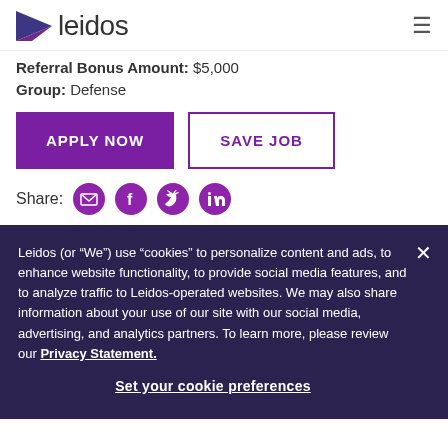[Figure (logo): Leidos company logo with purple triangle icon and 'leidos' text]
Referral Bonus Amount: $5,000
Group: Defense
APPLY NOW
SAVE JOB
Share:
Leidos (or “We”) use “cookies” to personalize content and ads, to enhance website functionality, to provide social media features, and to analyze traffic to Leidos-operated websites. We may also share information about your use of our site with our social media, advertising, and analytics partners. To learn more, please review our Privacy Statement.
Set your cookie preferences